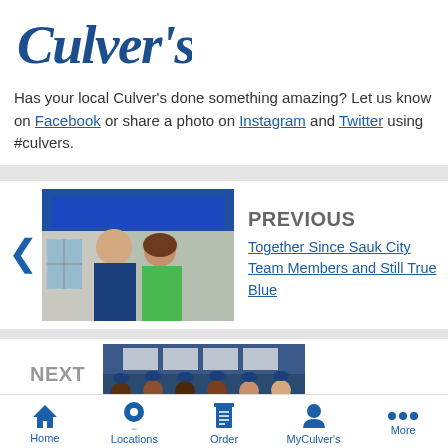[Figure (logo): Culver's script logo in dark blue]
Has your local Culver's done something amazing? Let us know on Facebook or share a photo on Instagram and Twitter using #culvers.
[Figure (photo): Man and woman standing together in front of a Culver's restaurant exterior, man in blue polo, woman in green cardigan]
PREVIOUS
Together Since Sauk City Team Members and Still True Blue
NEXT
[Figure (photo): Group of Culver's team members in blue uniforms and caps standing together indoors]
Home  Locations  Order  MyCulver's  More